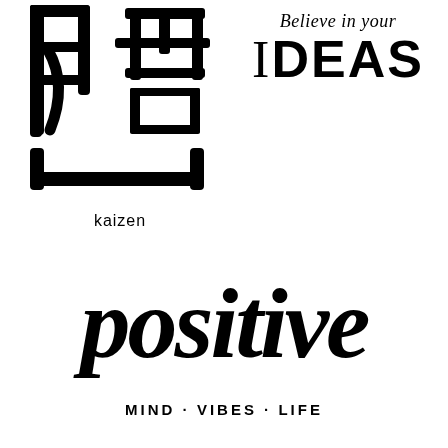[Figure (logo): Japanese kanji characters 改善 (kaizen) in bold black with a U-shaped border at the bottom, and the romanized label 'kaizen' below]
[Figure (logo): Motivational typographic logo: 'Believe in your' in italic script above large bold sans-serif text 'IDEAS']
[Figure (logo): Hand-lettered calligraphic word 'positive' in large brush script, with 'MIND · VIBES · LIFE' in small caps below]